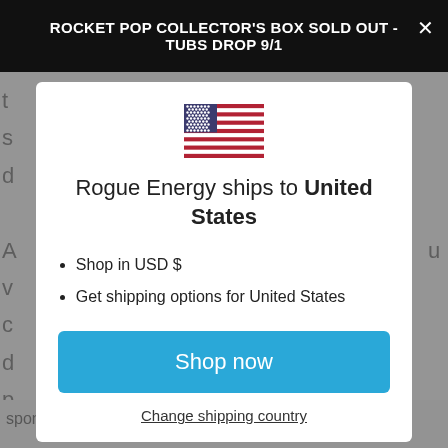ROCKET POP COLLECTOR'S BOX SOLD OUT - TUBS DROP 9/1
[Figure (illustration): US Flag emoji/icon centered in modal]
Rogue Energy ships to United States
Shop in USD $
Get shipping options for United States
Shop now
Change shipping country